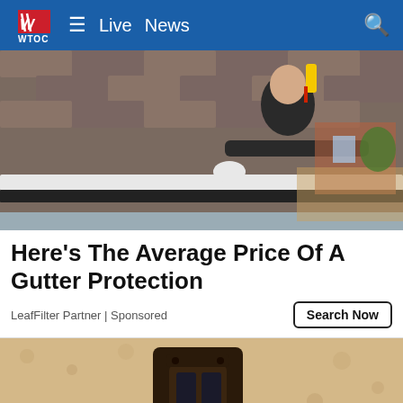WTOC  ≡  Live  News
[Figure (photo): A person in a dark hoodie installing or cleaning white gutter protection on a roof with brown shingles, holding a yellow tool, with a suburban background including a brick house and wooden fence.]
Here's The Average Price Of A Gutter Protection
LeafFilter Partner | Sponsored
[Figure (photo): Close-up of a dark metal outdoor wall light fixture mounted on a beige/tan textured stucco wall, with a white bulb visible inside.]